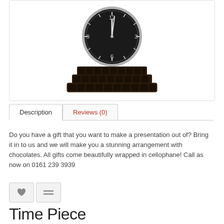[Figure (photo): A clock surrounded by chocolates arranged in a pyramid/gift display shape. The clock has a black face with white numerals and silver rim, positioned on top of multiple layers of chocolates.]
Description
Reviews (0)
Do you have a gift that you want to make a presentation out of? Bring it in to us and we will make you a stunning arrangement with chocolates. All gifts come beautifully wrapped in cellophane! Call as now on 0161 239 3939
Time Piece